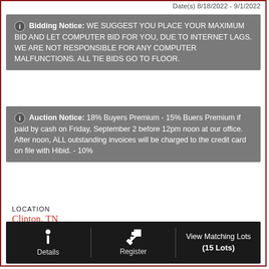Date(s) 8/18/2022 - 9/1/2022
Bidding Notice: WE SUGGEST YOU PLACE YOUR MAXIMUM BID AND LET COMPUTER BID FOR YOU, DUE TO INTERNET LAGS. WE ARE NOT RESPONSIBLE FOR ANY COMPUTER MALFUNCTIONS. ALL TIE BIDS GO TO FLOOR.
Auction Notice: 18% Buyers Premium - 15% Buers Premium if paid by cash on Friday, September 2 before 12pm noon at our office. After noon, ALL outstanding invoices will be charged to the credit card on file with Hibid. - 10%
LOCATION
Clinton, TN
OFFERED BY
Powell Auction & Realty, LLC
Details  Register  View Matching Lots (15 Lots)